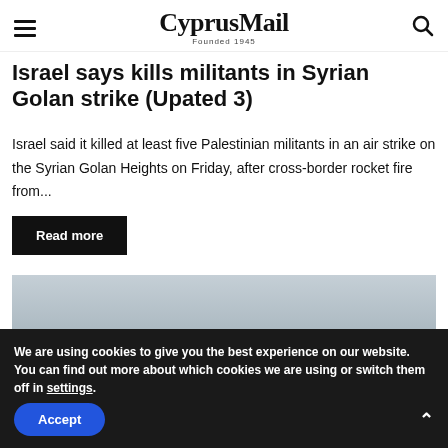CyprusMail — Founded 1945
Israel says kills militants in Syrian Golan strike (Upated 3)
Israel said it killed at least five Palestinian militants in an air strike on the Syrian Golan Heights on Friday, after cross-border rocket fire from...
Read more
[Figure (photo): Sky/cloud background photo]
We are using cookies to give you the best experience on our website.
You can find out more about which cookies we are using or switch them off in settings.
Accept